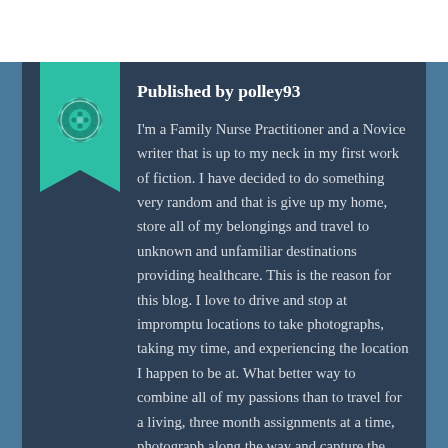Published by polley93
I'm a Family Nurse Practitioner and a Novice writer that is up to my neck in my first work of fiction. I have decided to do something very random and that is give up my home, store all of my belongings and travel to unknown and unfamiliar destinations providing healthcare. This is the reason for this blog. I love to drive and stop at impromptu locations to take photographs, taking my time, and experiencing the location I happen to be at. What better way to combine all of my passions than to travel for a living, three month assignments at a time, photograph along the way and capture the experience in a blog? I will